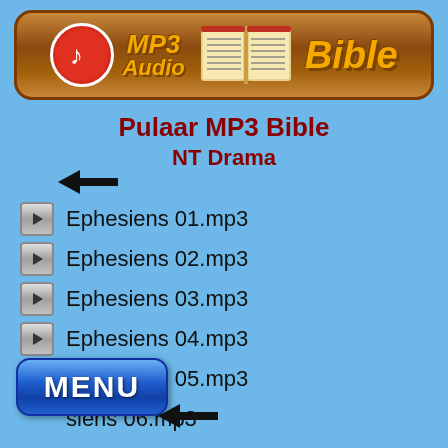[Figure (logo): MP3 Audio Bible banner logo with music note icon, open book, orange text on brown rounded rectangle]
Pulaar MP3 Bible
NT Drama
[Figure (other): Left-pointing black arrow (back navigation)]
Ephesiens 01.mp3
Ephesiens 02.mp3
Ephesiens 03.mp3
Ephesiens 04.mp3
Ephesiens 05.mp3
Ephesiens 06.mp3
[Figure (other): Blue MENU button with rounded corners]
[Figure (other): Left-pointing black arrow (back navigation) at bottom]